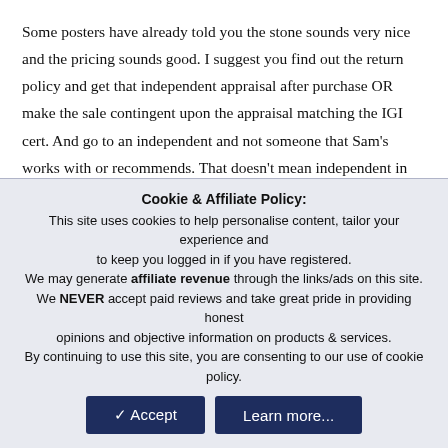Some posters have already told you the stone sounds very nice and the pricing sounds good. I suggest you find out the return policy and get that independent appraisal after purchase OR make the sale contingent upon the appraisal matching the IGI cert. And go to an independent and not someone that Sam's works with or recommends. That doesn't mean independent in all cases.

Going into debt for a purchase like this is never really 'good', but if you feel as though you can afford the extra amount and/or pay it off quickly, it's your decision on whether to go over budget on something. You make the
Cookie & Affiliate Policy:
This site uses cookies to help personalise content, tailor your experience and to keep you logged in if you have registered.
We may generate affiliate revenue through the links/ads on this site.
We NEVER accept paid reviews and take great pride in providing honest opinions and objective information on products & services.
By continuing to use this site, you are consenting to our use of cookie policy.